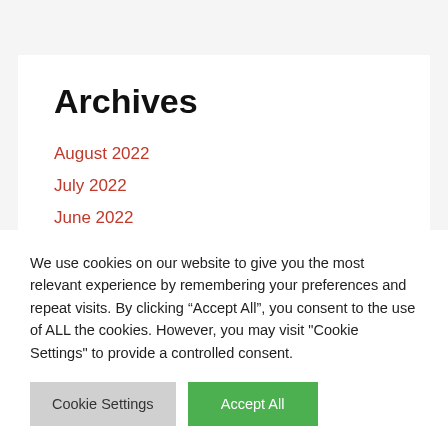Archives
August 2022
July 2022
June 2022
May 2022
April 2022
We use cookies on our website to give you the most relevant experience by remembering your preferences and repeat visits. By clicking “Accept All”, you consent to the use of ALL the cookies. However, you may visit "Cookie Settings" to provide a controlled consent.